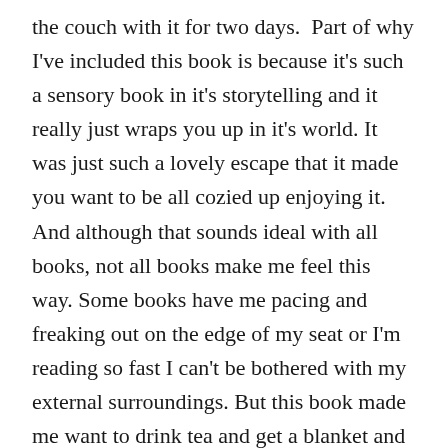the couch with it for two days.  Part of why I've included this book is because it's such a sensory book in it's storytelling and it really just wraps you up in it's world. It was just such a lovely escape that it made you want to be all cozied up enjoying it.  And although that sounds ideal with all books, not all books make me feel this way. Some books have me pacing and freaking out on the edge of my seat or I'm reading so fast I can't be bothered with my external surroundings. But this book made me want to drink tea and get a blanket and be swept away.
5. Fallen by Lauren Kate